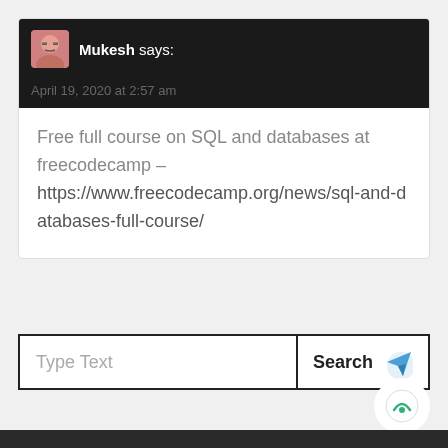Mukesh says:
April 19, 2020 at 2:57 am
Free full course on SQL and databases at freecodecamp – https://www.freecodecamp.org/news/sql-and-databases-full-course/
Type Text
Search